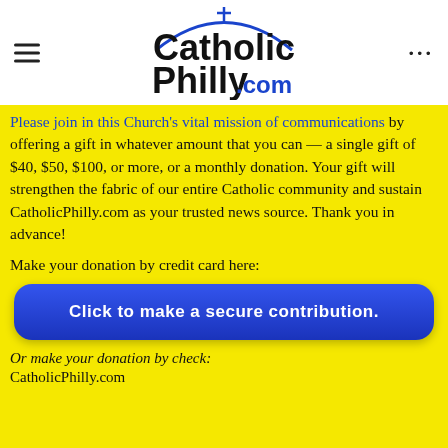CatholicPhilly.com
Please join in this Church's vital mission of communications by offering a gift in whatever amount that you can — a single gift of $40, $50, $100, or more, or a monthly donation. Your gift will strengthen the fabric of our entire Catholic community and sustain CatholicPhilly.com as your trusted news source. Thank you in advance!
Make your donation by credit card here:
Click to make a secure contribution.
Or make your donation by check:
CatholicPhilly.com